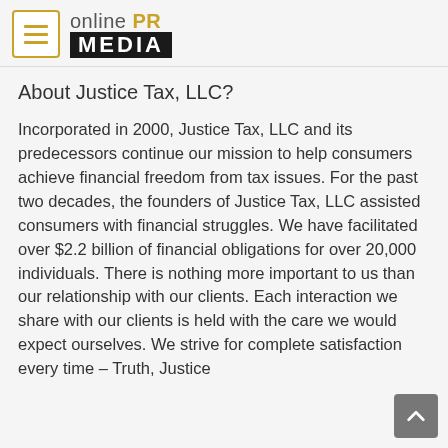[Figure (logo): Online PR Media logo with hamburger menu icon on the left and the logo consisting of 'online PR' text on top and 'MEDIA' in white on black banner below]
About Justice Tax, LLC?
Incorporated in 2000, Justice Tax, LLC and its predecessors continue our mission to help consumers achieve financial freedom from tax issues. For the past two decades, the founders of Justice Tax, LLC assisted consumers with financial struggles. We have facilitated over $2.2 billion of financial obligations for over 20,000 individuals. There is nothing more important to us than our relationship with our clients. Each interaction we share with our clients is held with the care we would expect ourselves. We strive for complete satisfaction every time – Truth, Justice